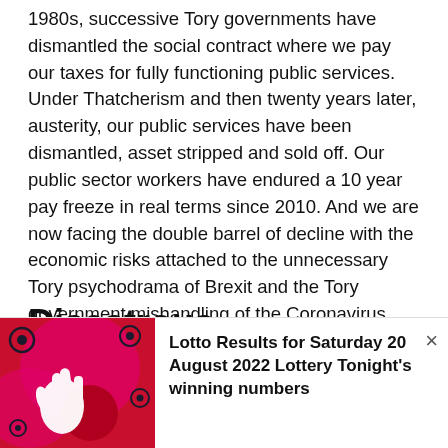1980s, successive Tory governments have dismantled the social contract where we pay our taxes for fully functioning public services. Under Thatcherism and then twenty years later, austerity, our public services have been dismantled, asset stripped and sold off. Our public sector workers have endured a 10 year pay freeze in real terms since 2010. And we are now facing the double barrel of decline with the economic risks attached to the unnecessary Tory psychodrama of Brexit and the Tory government mishandling of the Coronavirus crisis.
Disastrous consequences
The Tories try and refashion British society through an
[Figure (other): Advertisement overlay showing a red background with stylized lottery imagery (crossed fingers hand graphic, circular eye motifs in dark on red/pink background) on the left, and text 'Lotto Results for Saturday 20 August 2022 Lottery Tonight's winning numbers' on the right with a close button (×).]